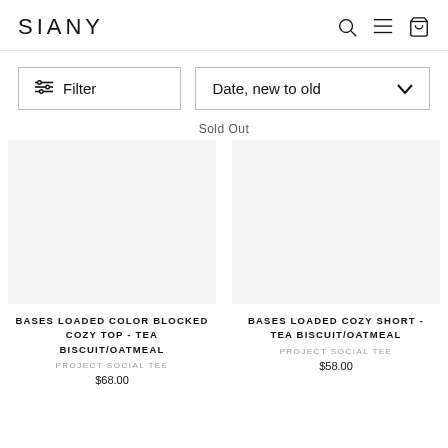SIANY
Filter
Date, new to old
Sold Out
BASES LOADED COLOR BLOCKED COZY TOP - TEA BISCUIT/OATMEAL
PROJECT SOCIAL TEE
$68.00
BASES LOADED COZY SHORT - TEA BISCUIT/OATMEAL
PROJECT SOCIAL TEE
$58.00